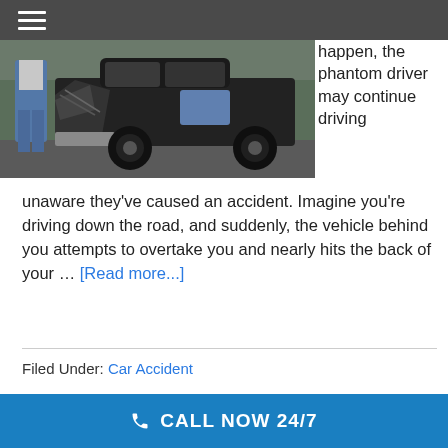☰ (navigation menu)
[Figure (photo): A person standing next to a badly damaged car with a smashed front end, on a road with greenery in the background.]
happen, the phantom driver may continue driving unaware they've caused an accident. Imagine you're driving down the road, and suddenly, the vehicle behind you attempts to overtake you and nearly hits the back of your … [Read more...]
Filed Under: Car Accident
CALL NOW 24/7